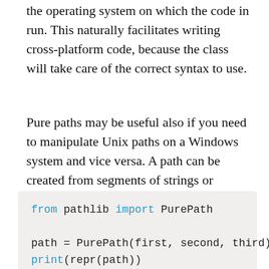the operating system on which the code in run. This naturally facilitates writing cross-platform code, because the class will take care of the correct syntax to use.
Pure paths may be useful also if you need to manipulate Unix paths on a Windows system and vice versa. A path can be created from segments of strings or os.PathLike objects. Let's take a look at the example below.
from pathlib import PurePath

path = PurePath(first, second, third)
print(repr(path))